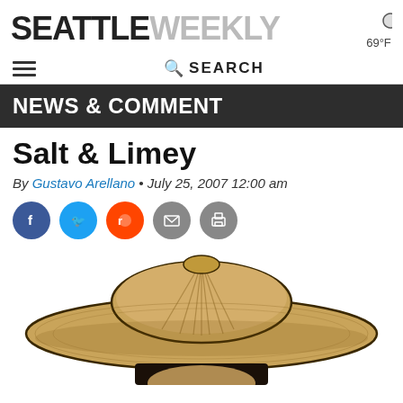SEATTLE WEEKLY
69°F
SEARCH
NEWS & COMMENT
Salt & Limey
By Gustavo Arellano • July 25, 2007 12:00 am
[Figure (other): Social sharing buttons: Facebook, Twitter, Reddit, Email, Print]
[Figure (illustration): Cartoon illustration of a figure wearing a large sombrero hat, shown from above/front, partially cropped at bottom of page]